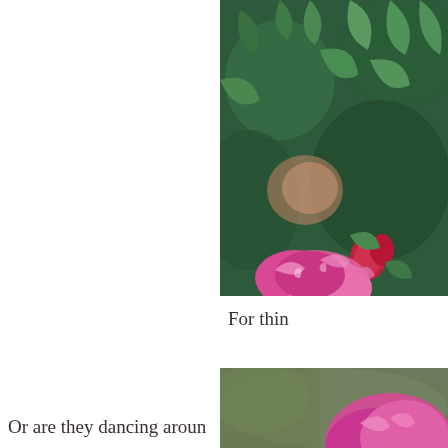[Figure (photo): Close-up photo of pink/red flowers and buds with green leaves against a dark green blurred background]
For thin
Hav
Or are they dancing aroun
[Figure (photo): Partial close-up photo of a pink flower against a blurred background, cut off at bottom of page]